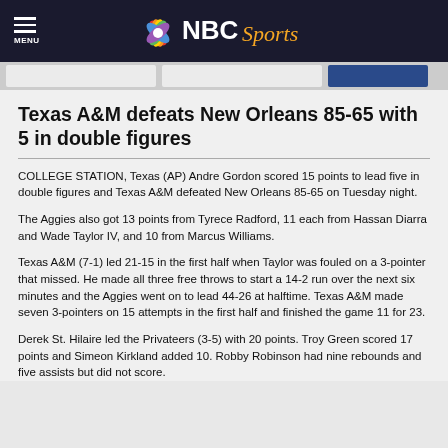NBC Sports
Texas A&M defeats New Orleans 85-65 with 5 in double figures
COLLEGE STATION, Texas (AP) Andre Gordon scored 15 points to lead five in double figures and Texas A&M defeated New Orleans 85-65 on Tuesday night.
The Aggies also got 13 points from Tyrece Radford, 11 each from Hassan Diarra and Wade Taylor IV, and 10 from Marcus Williams.
Texas A&M (7-1) led 21-15 in the first half when Taylor was fouled on a 3-pointer that missed. He made all three free throws to start a 14-2 run over the next six minutes and the Aggies went on to lead 44-26 at halftime. Texas A&M made seven 3-pointers on 15 attempts in the first half and finished the game 11 for 23.
Derek St. Hilaire led the Privateers (3-5) with 20 points. Troy Green scored 17 points and Simeon Kirkland added 10. Robby Robinson had nine rebounds and five assists but did not score.